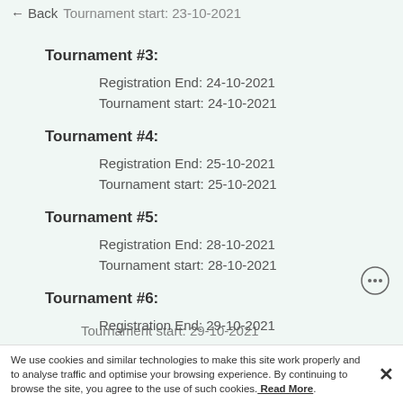← Back Tournament start: 23-10-2021
Tournament #3:
Registration End: 24-10-2021
Tournament start: 24-10-2021
Tournament #4:
Registration End: 25-10-2021
Tournament start: 25-10-2021
Tournament #5:
Registration End: 28-10-2021
Tournament start: 28-10-2021
Tournament #6:
Registration End: 29-10-2021
Tournament start: 29-10-2021
We use cookies and similar technologies to make this site work properly and to analyse traffic and optimise your browsing experience. By continuing to browse the site, you agree to the use of such cookies. Read More.